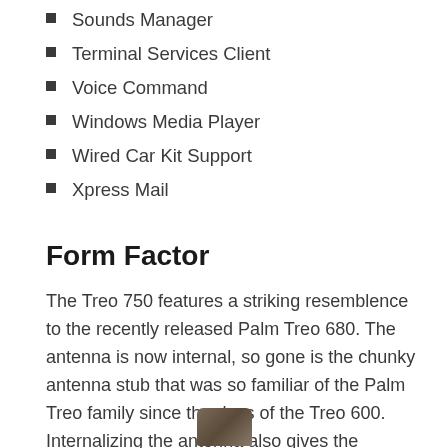Sounds Manager
Terminal Services Client
Voice Command
Windows Media Player
Wired Car Kit Support
Xpress Mail
Form Factor
The Treo 750 features a striking resemblence to the recently released Palm Treo 680. The antenna is now internal, so gone is the chunky antenna stub that was so familiar of the Palm Treo family since the days of the Treo 600. Internalizing the antenna also gives the appearance of a smaller smartphone.
[Figure (photo): Partial view of the Treo 750 smartphone device at the bottom of the page]